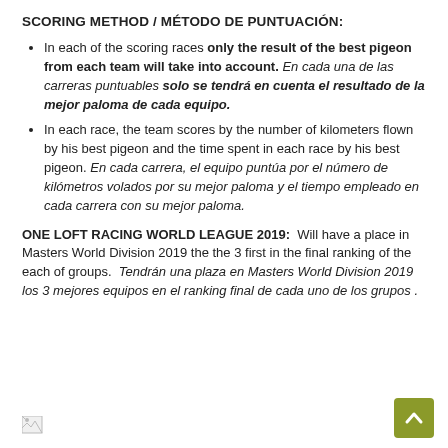SCORING METHOD / MÉTODO DE PUNTUACIÓN:
In each of the scoring races only the result of the best pigeon from each team will take into account. En cada una de las carreras puntuables solo se tendrá en cuenta el resultado de la mejor paloma de cada equipo.
In each race, the team scores by the number of kilometers flown by his best pigeon and the time spent in each race by his best pigeon. En cada carrera, el equipo puntúa por el número de kilómetros volados por su mejor paloma y el tiempo empleado en cada carrera con su mejor paloma.
ONE LOFT RACING WORLD LEAGUE 2019:  Will have a place in Masters World Division 2019 the the 3 first in the final ranking of the each of groups.  Tendrán una plaza en Masters World Division 2019 los 3 mejores equipos en el ranking final de cada uno de los grupos .
[Figure (other): Broken image placeholder at bottom left]
[Figure (other): Back-to-top button (olive/yellow-green square with upward chevron arrow) at bottom right]